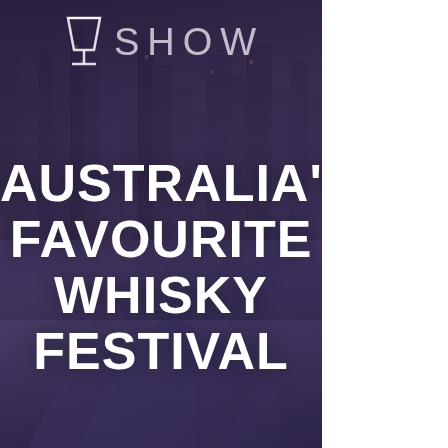[Figure (photo): Festival promotional image showing Sydney Opera House and city skyline at night with purple/dark overlay. White logo of a whisky glass icon and 'SHOW' text at top. Large bold white text reads 'AUSTRALIA'S FAVOURITE WHISKY FESTIVAL' centered on the image.]
AUSTRALIA'S FAVOURITE WHISKY FESTIVAL